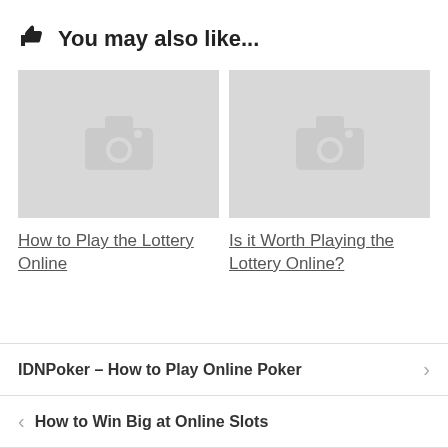You may also like...
[Figure (illustration): Placeholder image thumbnail with camera icon for 'How to Play the Lottery Online']
[Figure (illustration): Placeholder image thumbnail with camera icon for 'Is it Worth Playing the Lottery Online?']
How to Play the Lottery Online
Is it Worth Playing the Lottery Online?
IDNPoker – How to Play Online Poker
How to Win Big at Online Slots